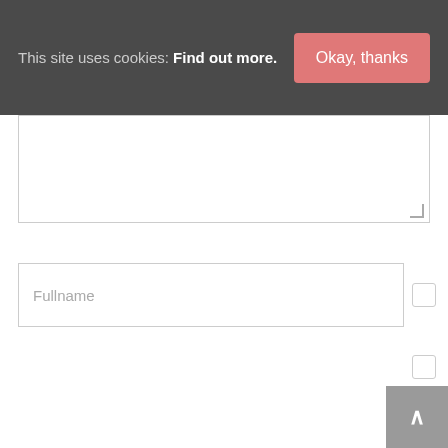This site uses cookies: Find out more.
Okay, thanks
[Figure (other): Partial textarea form field at top of page]
Fullname
Email Address
Web URL
[Figure (other): Scroll to top button with upward arrow, grey background]